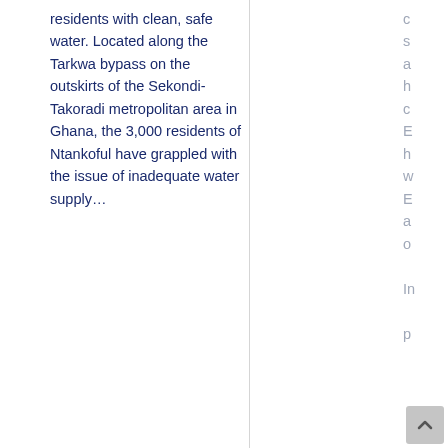residents with clean, safe water. Located along the Tarkwa bypass on the outskirts of the Sekondi-Takoradi metropolitan area in Ghana, the 3,000 residents of Ntankoful have grappled with the issue of inadequate water supply…